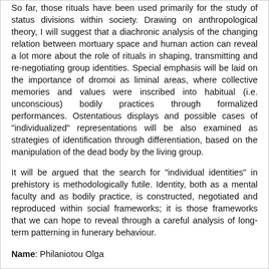So far, those rituals have been used primarily for the study of status divisions within society. Drawing on anthropological theory, I will suggest that a diachronic analysis of the changing relation between mortuary space and human action can reveal a lot more about the role of rituals in shaping, transmitting and re-negotiating group identities. Special emphasis will be laid on the importance of dromoi as liminal areas, where collective memories and values were inscribed into habitual (i.e. unconscious) bodily practices through formalized performances. Ostentatious displays and possible cases of "individualized" representations will be also examined as strategies of identification through differentiation, based on the manipulation of the dead body by the living group.
It will be argued that the search for "individual identities" in prehistory is methodologically futile. Identity, both as a mental faculty and as bodily practice, is constructed, negotiated and reproduced within social frameworks; it is those frameworks that we can hope to reveal through a careful analysis of long-term patterning in funerary behaviour.
Name: Philaniotou Olga